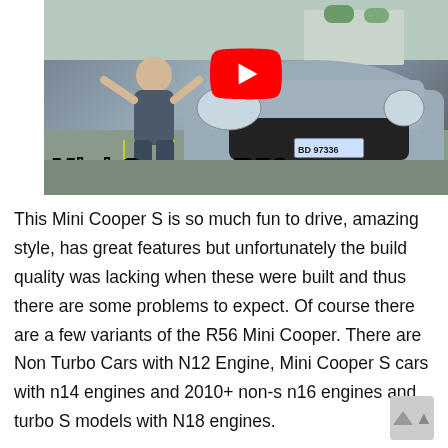[Figure (photo): YouTube video thumbnail showing a man posing next to a silver Mini Cooper R56 in a parking lot. A large YouTube play button is centered on the image. Yellow bold text reads 'Mini Cooper R56' at the bottom of the thumbnail.]
This Mini Cooper S is so much fun to drive, amazing style, has great features but unfortunately the build quality was lacking when these were built and thus there are some problems to expect. Of course there are a few variants of the R56 Mini Cooper. There are Non Turbo Cars with N12 Engine, Mini Cooper S cars with n14 engines and 2010+ non-s n16 engines and turbo S models with N18 engines.